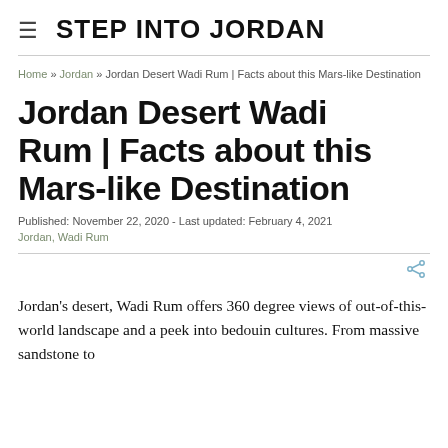STEP INTO JORDAN
Home » Jordan » Jordan Desert Wadi Rum | Facts about this Mars-like Destination
Jordan Desert Wadi Rum | Facts about this Mars-like Destination
Published: November 22, 2020 - Last updated: February 4, 2021
Jordan, Wadi Rum
Jordan's desert, Wadi Rum offers 360 degree views of out-of-this-world landscape and a peek into bedouin cultures. From massive sandstone to